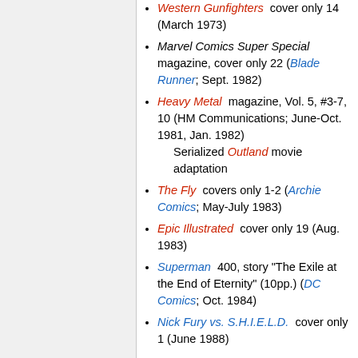Western Gunfighters  cover only 14 (March 1973)
Marvel Comics Super Special  magazine, cover only 22 (Blade Runner; Sept. 1982)
Heavy Metal  magazine, Vol. 5, #3-7, 10 (HM Communications; June-Oct. 1981, Jan. 1982) Serialized Outland movie adaptation
The Fly  covers only 1-2 (Archie Comics; May-July 1983)
Epic Illustrated  cover only 19 (Aug. 1983)
Superman  400, story "The Exile at the End of Eternity" (10pp.) (DC Comics; Oct. 1984)
Nick Fury vs. S.H.I.E.L.D.  cover only 1 (June 1988)